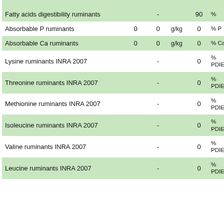| Parameter |  |  | Unit/Value | Value | Unit |
| --- | --- | --- | --- | --- | --- |
| Fatty acids digestibility ruminants |  | - |  | 90 | % |
| Absorbable P ruminants | 0 | 0 | g/kg | 0 | % P |
| Absorbable Ca ruminants | 0 | 0 | g/kg | 0 | % Ca |
| Lysine ruminants INRA 2007 |  | - |  | 0 | % PDIE |
| Threonine ruminants INRA 2007 |  | - |  | 0 | % PDIE |
| Methionine ruminants INRA 2007 |  | - |  | 0 | % PDIE |
| Isoleucine ruminants INRA 2007 |  | - |  | 0 | % PDIE |
| Valine ruminants INRA 2007 |  | - |  | 0 | % PDIE |
| Leucine ruminants INRA 2007 |  | - |  | 0 | % PDIE |